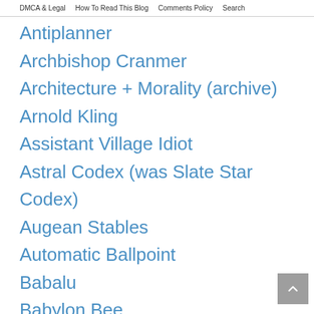DMCA & Legal   How To Read This Blog   Comments Policy   Search
Antiplanner
Archbishop Cranmer
Architecture + Morality (archive)
Arnold Kling
Assistant Village Idiot
Astral Codex (was Slate Star Codex)
Augean Stables
Automatic Ballpoint
Babalu
Babylon Bee
baldilocks
Balkinization
Bari Weiss